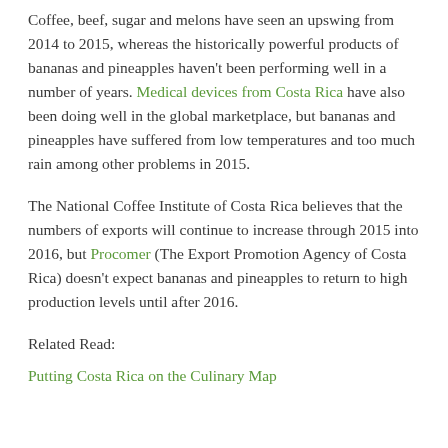Coffee, beef, sugar and melons have seen an upswing from 2014 to 2015, whereas the historically powerful products of bananas and pineapples haven't been performing well in a number of years. Medical devices from Costa Rica have also been doing well in the global marketplace, but bananas and pineapples have suffered from low temperatures and too much rain among other problems in 2015.
The National Coffee Institute of Costa Rica believes that the numbers of exports will continue to increase through 2015 into 2016, but Procomer (The Export Promotion Agency of Costa Rica) doesn't expect bananas and pineapples to return to high production levels until after 2016.
Related Read:
Putting Costa Rica on the Culinary Map